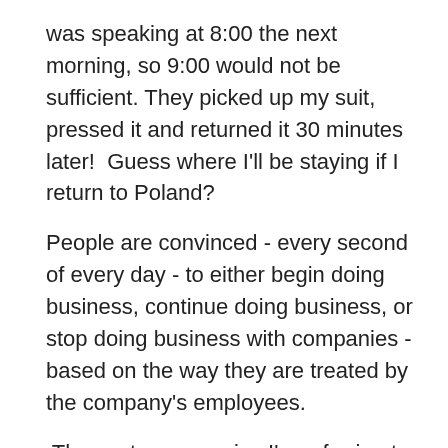was speaking at 8:00 the next morning, so 9:00 would not be sufficient. They picked up my suit, pressed it and returned it 30 minutes later!  Guess where I'll be staying if I return to Poland?
People are convinced - every second of every day - to either begin doing business, continue doing business, or stop doing business with companies - based on the way they are treated by the company's employees.
The customer service I'm referring to is rarely performed by actual customer service reps. These employees actually have more of an impact on customers than customer service reps, but aren't trained, paid or treated like customer service reps.  It's one thing to get good or bad customer service from someone who is paid to provide it.  It's quite another to get the good or bad